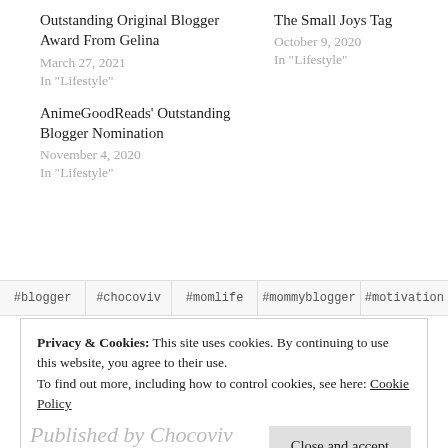Outstanding Original Blogger Award From Gelina
March 27, 2021
In "Lifestyle"
The Small Joys Tag
October 9, 2020
In "Lifestyle"
AnimeGoodReads' Outstanding Blogger Nomination
November 4, 2020
In "Lifestyle"
#blogger
#chocoviv
#momlife
#mommyblogger
#motivation
Privacy & Cookies: This site uses cookies. By continuing to use this website, you agree to their use.
To find out more, including how to control cookies, see here: Cookie Policy
Close and accept
Published by Chocoviv